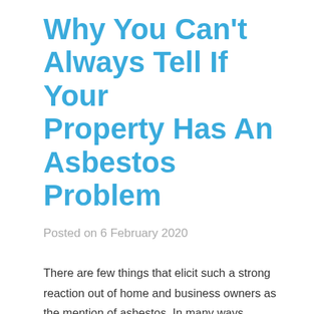Why You Can't Always Tell If Your Property Has An Asbestos Problem
Posted on 6 February 2020
There are few things that elicit such a strong reaction out of home and business owners as the mention of asbestos. In many ways, asbestos is the boogeyman when it comes to real estate because unless you built the property yourself, you really cannot be sure whether or not it will be revealed later on whether asbestos exists in your